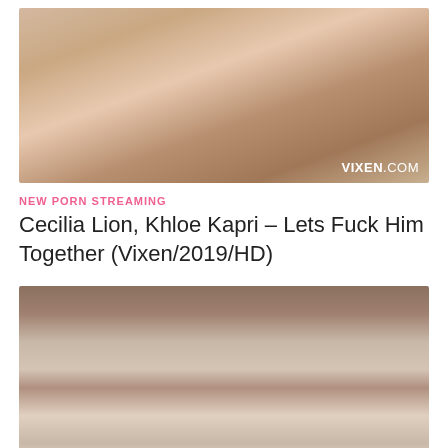[Figure (photo): Photo of two women in an intimate pose on a white surface, with a VIXEN.COM watermark in the bottom right corner]
NEW PORN STREAMING
Cecilia Lion, Khloe Kapri – Lets Fuck Him Together (Vixen/2019/HD)
[Figure (photo): Photo of a man and a woman wearing a grey beanie hat in close proximity]